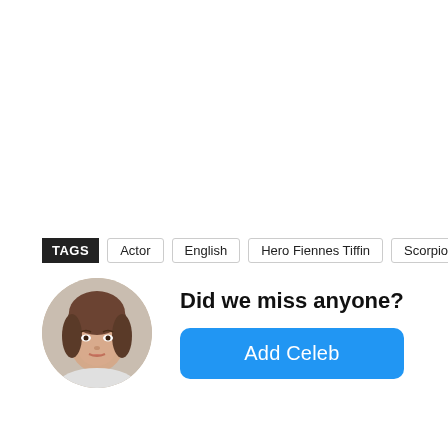TAGS  Actor  English  Hero Fiennes Tiffin  Scorpio
[Figure (photo): Circular avatar photo of a young woman with long brown hair]
Did we miss anyone?
Add Celeb